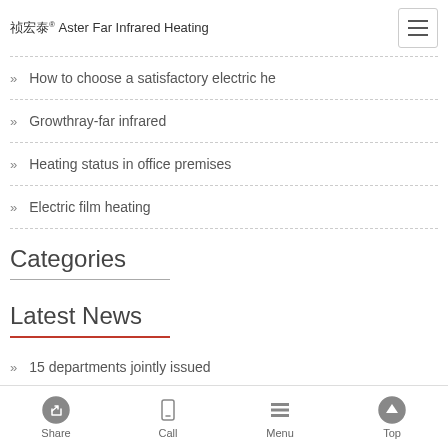祯宏泰® Aster Far Infrared Heating
How to choose a satisfactory electric he
Growthray-far infrared
Heating status in office premises
Electric film heating
Categories
Latest News
15 departments jointly issued
Share  Call  Menu  Top